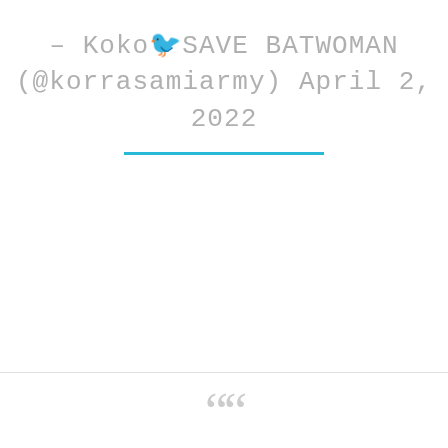– Koko🐦SAVE BATWOMAN (@korrasamiarmy) April 2, 2022
❝❝